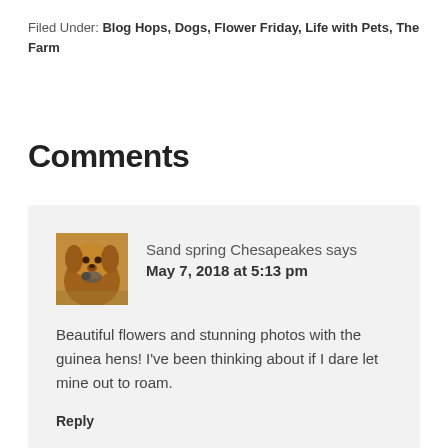Filed Under: Blog Hops, Dogs, Flower Friday, Life with Pets, The Farm
Comments
Sand spring Chesapeakes says
May 7, 2018 at 5:13 pm
Beautiful flowers and stunning photos with the guinea hens! I've been thinking about if I dare let mine out to roam.
Reply